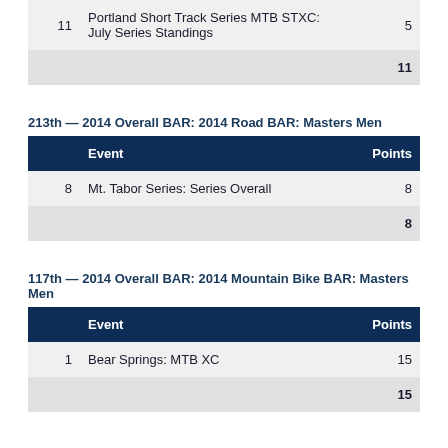| 11 | Portland Short Track Series MTB STXC: July Series Standings | 5 |
|  |  | 11 |
213th — 2014 Overall BAR: 2014 Road BAR: Masters Men
| Event | Points |
| --- | --- |
| 8 | Mt. Tabor Series: Series Overall | 8 |
|  |  | 8 |
117th — 2014 Overall BAR: 2014 Mountain Bike BAR: Masters Men
| Event | Points |
| --- | --- |
| 1 | Bear Springs: MTB XC | 15 |
|  |  | 15 |